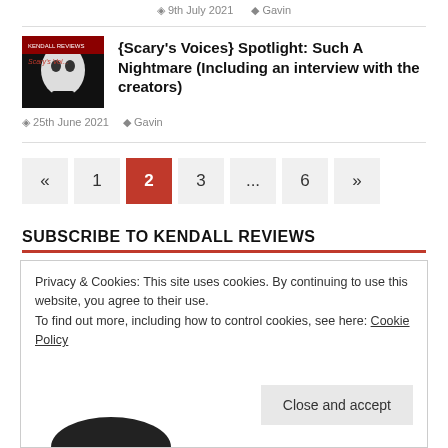9th July 2021  Gavin
{Scary's Voices} Spotlight: Such A Nightmare (Including an interview with the creators)
25th June 2021  Gavin
« 1 2 3 ... 6 »
SUBSCRIBE TO KENDALL REVIEWS
Privacy & Cookies: This site uses cookies. By continuing to use this website, you agree to their use.
To find out more, including how to control cookies, see here: Cookie Policy
Close and accept